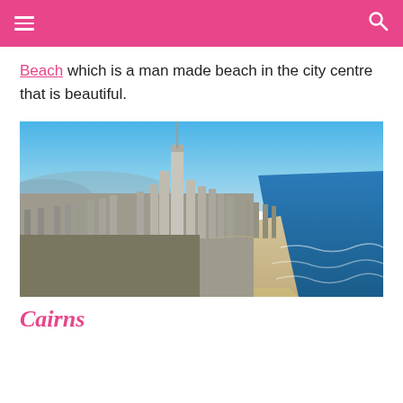navigation header with hamburger menu and search icon
Beach which is a man made beach in the city centre that is beautiful.
[Figure (photo): Aerial photograph of a coastal city (Surfers Paradise / Gold Coast, Australia) showing tall skyscrapers along a long sandy beach with the ocean to the right and city sprawl to the left under a clear blue sky.]
Cairns